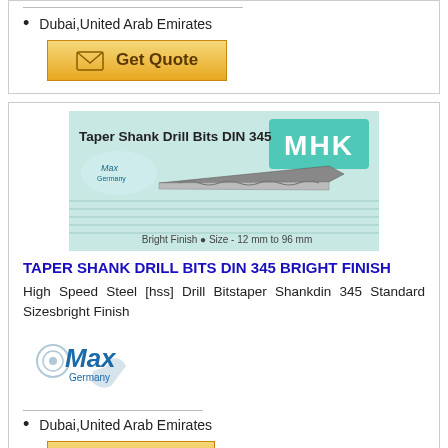Dubai,United Arab Emirates
[Figure (other): Get Quote button with envelope icon, golden gradient background]
[Figure (other): Taper Shank Drill Bits DIN 345 MHK product image with drill bit, bright finish, size 12mm to 96mm]
TAPER SHANK DRILL BITS DIN 345 BRIGHT FINISH
High Speed Steel [hss] Drill Bitstaper Shankdin 345 Standard Sizesbright Finish
[Figure (logo): Max Germany logo]
Dubai,United Arab Emirates
[Figure (other): Get Quote button with envelope icon, golden gradient background, partially visible]